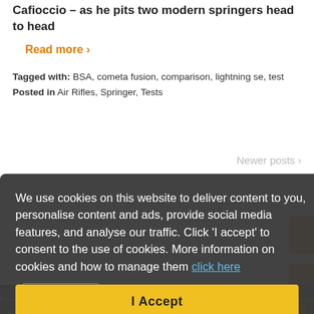Cafioccio – as he pits two modern springers head to head
Read more ›
Tagged with: BSA, cometa fusion, comparison, lightning se, test
Posted in Air Rifles, Springer, Tests
Newer posts ›
We use cookies on this website to deliver content to you, personalise content and ads, provide social media features, and analyse our traffic. Click 'I accept' to consent to the use of cookies. More information on cookies and how to manage them click here
5,101 followers
I Accept
Search Site
search here …
Go